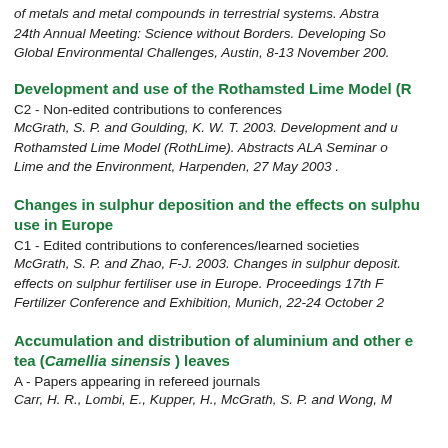of metals and metal compounds in terrestrial systems. Abstra 24th Annual Meeting: Science without Borders. Developing So Global Environmental Challenges, Austin, 8-13 November 200.
Development and use of the Rothamsted Lime Model (R
C2 - Non-edited contributions to conferences
McGrath, S. P. and Goulding, K. W. T. 2003. Development and u Rothamsted Lime Model (RothLime). Abstracts ALA Seminar o Lime and the Environment, Harpenden, 27 May 2003 .
Changes in sulphur deposition and the effects on sulphu use in Europe
C1 - Edited contributions to conferences/learned societies
McGrath, S. P. and Zhao, F-J. 2003. Changes in sulphur deposit. effects on sulphur fertiliser use in Europe. Proceedings 17th F Fertilizer Conference and Exhibition, Munich, 22-24 October 2
Accumulation and distribution of aluminium and other e tea (Camellia sinensis ) leaves
A - Papers appearing in refereed journals
Carr, H. R., Lombi, E., Kupper, H., McGrath, S. P. and Wong, M